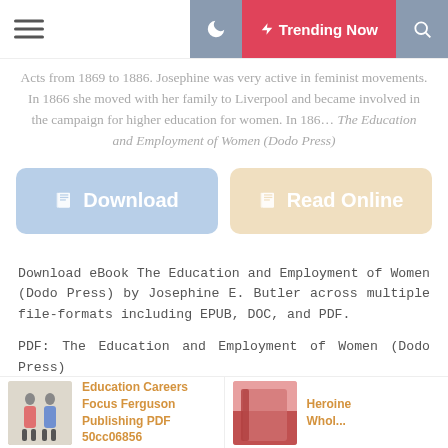≡  [moon icon]  ⚡ Trending Now  [search icon]
Acts from 1869 to 1886. Josephine was very active in feminist movements. In 1866 she moved with her family to Liverpool and became involved in the campaign for higher education for women. In 186… The Education and Employment of Women (Dodo Press)
[Figure (screenshot): Two large rounded-rectangle buttons side by side: a blue 'Download' button on the left and a beige 'Read Online' button on the right, each with a book icon.]
Download eBook The Education and Employment of Women (Dodo Press) by Josephine E. Butler across multiple file-formats including EPUB, DOC, and PDF.
PDF: The Education and Employment of Women (Dodo Press)
[Figure (screenshot): Bottom card showing book thumbnail for 'Education Careers Focus Ferguson Publishing PDF 50cc06856']
[Figure (screenshot): Bottom card showing book thumbnail for 'Heroine Whol...' with pink/red cover]